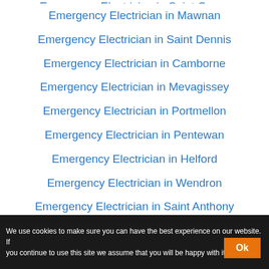Emergency Electrician in Saint Goran
Emergency Electrician in Mawnan
Emergency Electrician in Saint Dennis
Emergency Electrician in Camborne
Emergency Electrician in Mevagissey
Emergency Electrician in Portmellon
Emergency Electrician in Pentewan
Emergency Electrician in Helford
Emergency Electrician in Wendron
Emergency Electrician in Saint Anthony
We use cookies to make sure you can have the best experience on our website. If you continue to use this site we assume that you will be happy with it.